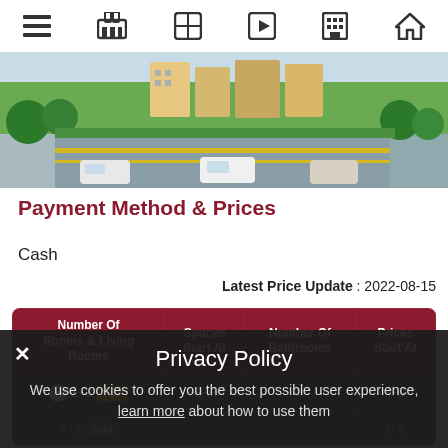Navigation bar with icons: menu, store, globe, play, building, home
[Figure (photo): Aerial/street-level view of a real estate development showing roads, greenery, buildings and cars]
Payment Method & Prices
Cash
Latest Price Update : 2022-08-15
| Number Of Rooms & Living Rooms | Spaces Start At | Number Of Bathrooms | Prices Start At |
| --- | --- | --- | --- |
| ? 1+0 Sold | 52 M² | 0 | 0 $ |
| 4+1 Sold |  |  | 0 $ |
Privacy Policy
We use cookies to offer you the best possible user experience, learn more about how to use them